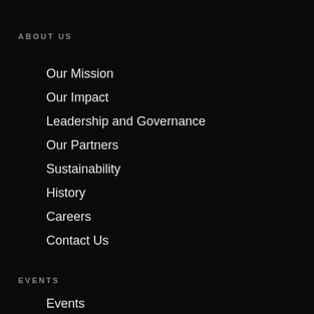ABOUT US
Our Mission
Our Impact
Leadership and Governance
Our Partners
Sustainability
History
Careers
Contact Us
EVENTS
Events